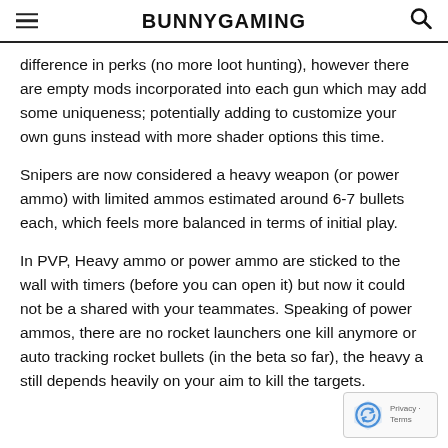BUNNYGAMING
difference in perks (no more loot hunting), however there are empty mods incorporated into each gun which may add some uniqueness; potentially adding to customize your own guns instead with more shader options this time.
Snipers are now considered a heavy weapon (or power ammo) with limited ammos estimated around 6-7 bullets each, which feels more balanced in terms of initial play.
In PVP, Heavy ammo or power ammo are sticked to the wall with timers (before you can open it) but now it could not be a shared with your teammates. Speaking of power ammos, there are no rocket launchers one kill anymore or auto tracking rocket bullets (in the beta so far), the heavy a still depends heavily on your aim to kill the targets.